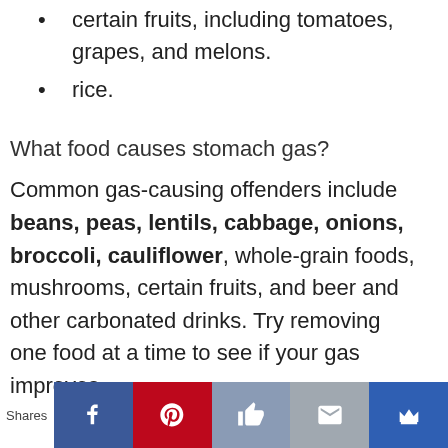certain fruits, including tomatoes, grapes, and melons.
rice.
What food causes stomach gas?
Common gas-causing offenders include beans, peas, lentils, cabbage, onions, broccoli, cauliflower, whole-grain foods, mushrooms, certain fruits, and beer and other carbonated drinks. Try removing one food at a time to see if your gas improves.
Shares [Facebook] [Pinterest] [Like] [Mail] [Crown]